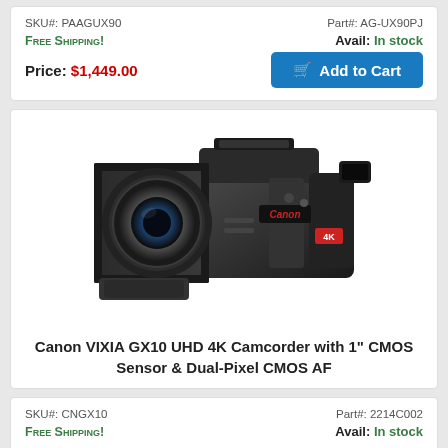SKU#: PAAGUX90
Part#: AG-UX90PJ
Free Shipping!
Avail: In stock
Price: $1,449.00
Add to Cart
[Figure (photo): Canon VIXIA GX10 UHD 4K Camcorder shown from front-left angle, black body with lens hood and viewfinder]
Canon VIXIA GX10 UHD 4K Camcorder with 1" CMOS Sensor & Dual-Pixel CMOS AF
SKU#: CNGX10
Part#: 2214C002
Free Shipping!
Avail: In stock